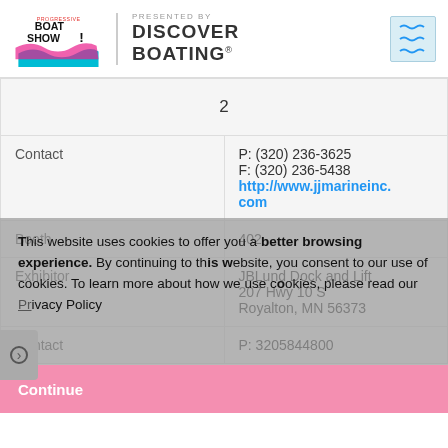[Figure (logo): Progressive Boat Show logo with Discover Boating presented by text and wave menu icon]
|  | 2 |
| Contact | P: (320) 236-3625
F: (320) 236-5438
http://www.jjmarineinc.com |
| Booth | 402 |
| Exhibitor | JBLund Dock and Lift
207 Hwy 10 S
Royalton, MN 56373 |
| Contact | P: 3205844800 |
This website uses cookies to offer you a better browsing experience. By continuing to this website, you consent to our use of cookies. To learn more about how we use cookies, please read our Privacy Policy